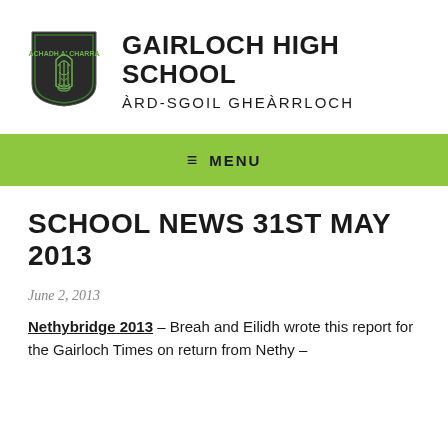[Figure (logo): Gairloch High School shield logo with green Celtic knotwork/harp design on dark shield background]
GAIRLOCH HIGH SCHOOL
ÀRD-SGOIL GHEÀRRLOCH
≡  MENU
SCHOOL NEWS 31ST MAY 2013
June 2, 2013
Nethybridge 2013 – Breah and Eilidh wrote this report for the Gairloch Times on return from Nethy –